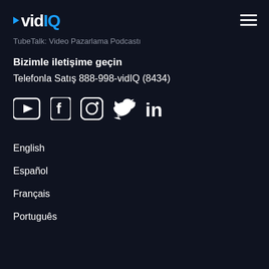[Figure (logo): vidIQ logo with play triangle in blue and 'vid' in white, 'IQ' in blue]
TubeTalk: Video Pazarlama Podcastı
Bizimle iletişime geçin
Telefonla Satış 888-998-vidIQ (8434)
[Figure (infographic): Social media icons: YouTube play button, Facebook, Instagram, Twitter, LinkedIn]
English
Español
Français
Português